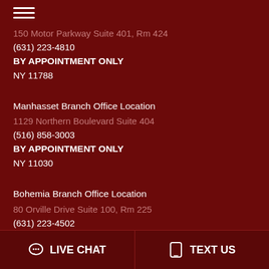[Figure (other): Hamburger menu icon (three white horizontal lines)]
150 Motor Parkway Suite 401, Rm 424
(631) 223-4810
BY APPOINTMENT ONLY
NY 11788
Manhasset Branch Office Location
1129 Northern Boulevard Suite 404
(516) 858-3003
BY APPOINTMENT ONLY
NY 11030
Bohemia Branch Office Location
80 Orville Drive Suite 100, Rm 225
(631) 223-4502
LIVE CHAT
TEXT US